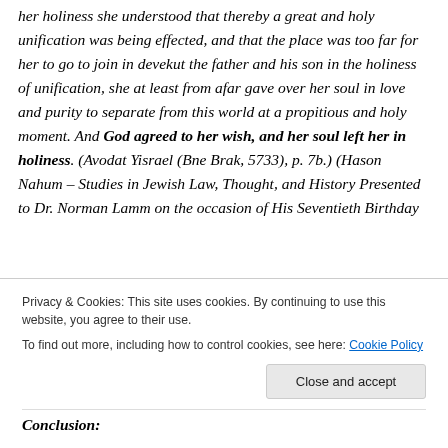her holiness she understood that thereby a great and holy unification was being effected, and that the place was too far for her to go to join in devekut the father and his son in the holiness of unification, she at least from afar gave over her soul in love and purity to separate from this world at a propitious and holy moment. And God agreed to her wish, and her soul left her in holiness. (Avodat Yisrael (Bne Brak, 5733), p. 7b.) (Hason Nahum – Studies in Jewish Law, Thought, and History Presented to Dr. Norman Lamm on the occasion of His Seventieth Birthday
Privacy & Cookies: This site uses cookies. By continuing to use this website, you agree to their use.
To find out more, including how to control cookies, see here: Cookie Policy
Close and accept
Conclusion: